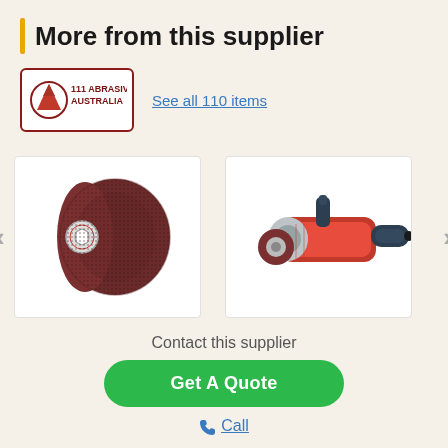More from this supplier
[Figure (logo): 111 Abrasives Australia logo — red mountain/triangle icon with red border, text '111 ABRASIVES AUSTRALIA' in dark red]
See all 110 items
[Figure (photo): Dark reddish-brown abrasive flap wheel / non-woven polishing wheel with hexagonal arbor hole]
[Figure (photo): Pink/red electric angle grinder with a flap wheel attached, silver body, black handle]
Contact this supplier
Get A Quote
Call